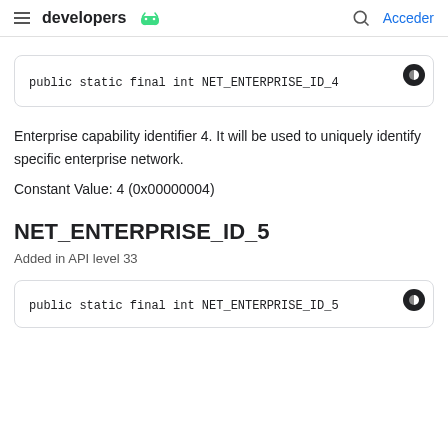developers | Acceder
public static final int NET_ENTERPRISE_ID_4
Enterprise capability identifier 4. It will be used to uniquely identify specific enterprise network.
Constant Value: 4 (0x00000004)
NET_ENTERPRISE_ID_5
Added in API level 33
public static final int NET_ENTERPRISE_ID_5